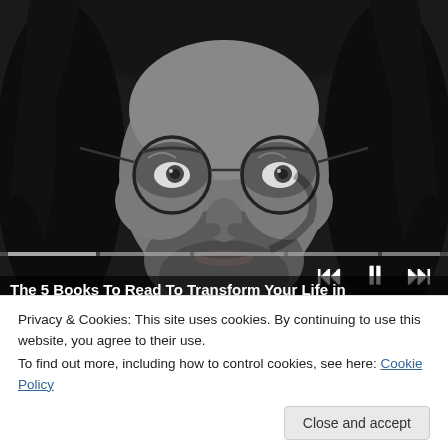[Figure (photo): Black and white close-up photo of a man with long hair and round wire-frame glasses, shown from nose to top of head. A media player progress bar and transport controls (skip back, pause, skip forward) are overlaid at the bottom of the image.]
The 5 Books To Read To Transform Your Life in
Privacy & Cookies: This site uses cookies. By continuing to use this website, you agree to their use.
To find out more, including how to control cookies, see here: Cookie Policy
Close and accept
SOCIAL SECURITY ADMINISTRATION